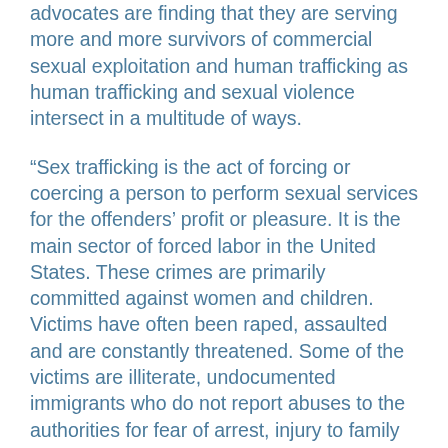advocates are finding that they are serving more and more survivors of commercial sexual exploitation and human trafficking as human trafficking and sexual violence intersect in a multitude of ways.
“Sex trafficking is the act of forcing or coercing a person to perform sexual services for the offenders’ profit or pleasure. It is the main sector of forced labor in the United States. These crimes are primarily committed against women and children. Victims have often been raped, assaulted and are constantly threatened. Some of the victims are illiterate, undocumented immigrants who do not report abuses to the authorities for fear of arrest, injury to family members, deportation, or other serious reprisals. Many victims are underage runaways, or children